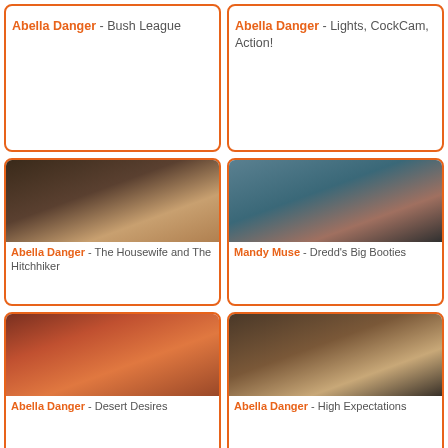Abella Danger - Bush League
Abella Danger - Lights, CockCam, Action!
[Figure (photo): Two people in an intimate scene indoors]
Abella Danger - The Housewife and The Hitchhiker
[Figure (photo): Woman in black lingerie posing by a pool]
Mandy Muse - Dredd's Big Booties
[Figure (photo): Woman in red dress and red headscarf outdoors in desert landscape]
Abella Danger - Desert Desires
[Figure (photo): Three people in intimate scene on a couch indoors]
Abella Danger - High Expectations